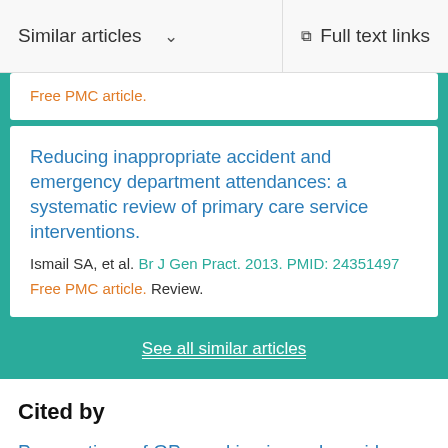Similar articles   Full text links
Free PMC article.
Reducing inappropriate accident and emergency department attendances: a systematic review of primary care service interventions.
Ismail SA, et al. Br J Gen Pract. 2013. PMID: 24351497
Free PMC article. Review.
See all similar articles
Cited by
Perspectives of GPs working in or alongside